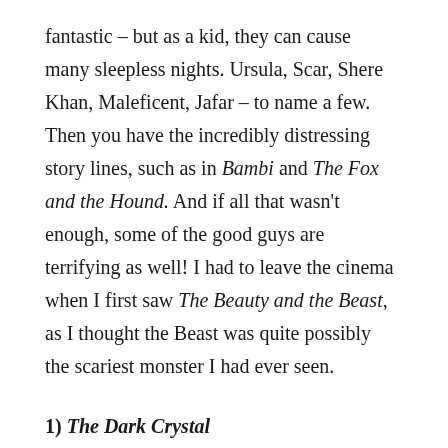fantastic – but as a kid, they can cause many sleepless nights. Ursula, Scar, Shere Khan, Maleficent, Jafar – to name a few. Then you have the incredibly distressing story lines, such as in Bambi and The Fox and the Hound. And if all that wasn't enough, some of the good guys are terrifying as well! I had to leave the cinema when I first saw The Beauty and the Beast, as I thought the Beast was quite possibly the scariest monster I had ever seen.
1) The Dark Crystal